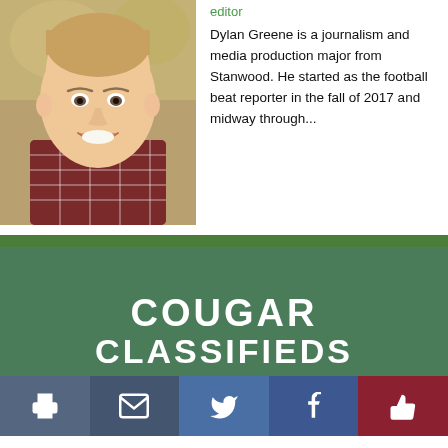[Figure (photo): Headshot of Dylan Greene, a young man with short hair wearing a plaid flannel shirt, smiling at the camera, outdoor background blurred]
editor
Dylan Greene is a journalism and media production major from Stanwood. He started as the football beat reporter in the fall of 2017 and midway through...
[Figure (logo): Cougar Classifieds logo on green background with white bold text reading COUGAR and CLASSIFIEDS partially visible]
[Figure (infographic): Share bar with print, email, Twitter, Facebook, and like buttons]